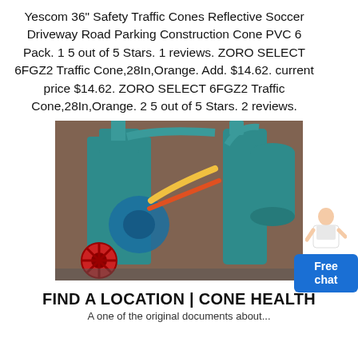Yescom 36" Safety Traffic Cones Reflective Soccer Driveway Road Parking Construction Cone PVC 6 Pack. 1 5 out of 5 Stars. 1 reviews. ZORO SELECT 6FGZ2 Traffic Cone,28In,Orange. Add. $14.62. current price $14.62. ZORO SELECT 6FGZ2 Traffic Cone,28In,Orange. 2 5 out of 5 Stars. 2 reviews.
[Figure (photo): Industrial machinery in a factory setting showing large teal/blue industrial equipment including cylindrical tanks, pipes, and a red wheel visible in the foreground.]
FIND A LOCATION | CONE HEALTH
A one of the original documents about...